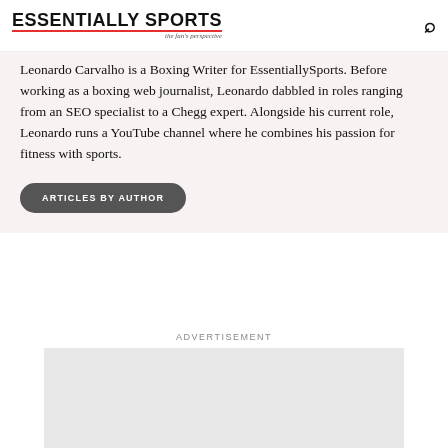ESSENTIALLY SPORTS — the fan's perspective
Leonardo Carvalho is a Boxing Writer for EssentiallySports. Before working as a boxing web journalist, Leonardo dabbled in roles ranging from an SEO specialist to a Chegg expert. Alongside his current role, Leonardo runs a YouTube channel where he combines his passion for fitness with sports.
ARTICLES BY AUTHOR
ADVERTISEMENT